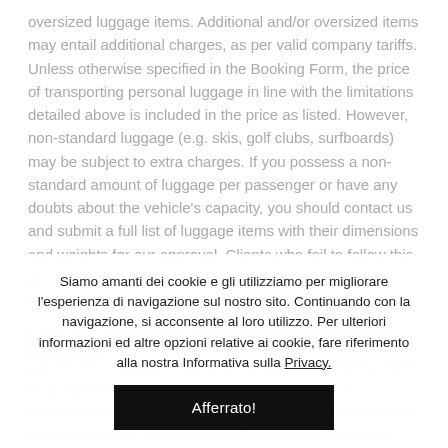oversized luggage items. Additional and/or oversized items may entail additional charges, as per valid company tariffs. Unless otherwise specified in the Booking Form, the price of transporting personal luggage in line with the limitations detailed above is included in the price as listed. However, non-standard luggage (e.g. skis, golf clubs, surfboards) may be subject to extra charges. If you possess a non-standard amount of luggage per passenger or have any doubts about the vehicle's capacity, you should contact us and submit a full list of luggage items with their dimensions and weights for our approval. Clients who fail to follow this procedure risk their party requiring a vehicle larger than their selection, entailing a higher price.
We undertake all reasonable precautions to accommodate passengers' luggage-related demands and cannot be held responsible for any problems involving excess or nonstandard luggage. We will make a reasonable effort to return any items inadvertently left behind in the vehicle, however it is your responsibility to cover shipping costs as well as any ancillary expenses (e.g. storage charges).
Child seats and booster seats are available on request. Please not
Siamo amanti dei cookie e gli utilizziamo per migliorare l'esperienza di navigazione sul nostro sito. Continuando con la navigazione, si acconsente al loro utilizzo. Per ulteriori informazioni ed altre opzioni relative ai cookie, fare riferimento alla nostra Informativa sulla Privacy.
Afferrato!